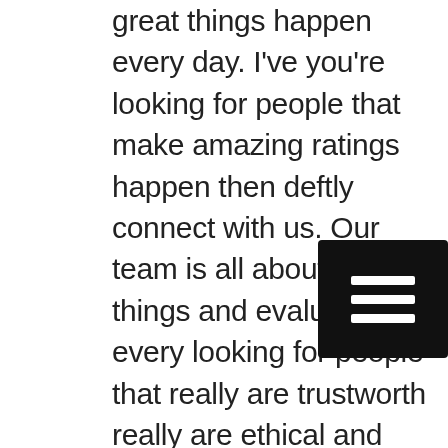great things happen every day. I've you're looking for people that make amazing ratings happen then deftly connect with us. Our team is all about doing things and evaluate every looking for people that really are trustworthy really are ethical and really reliable connect with our great stop say. Our team is ready to make sure that you can apply trust us, when it comes to getting the most amazingly good service was awesome really is important of your looking for people I do things everyday to deftly connect with us our team is all about doing things in a very amazing away. Probably ready to help you see that we really are on your side which is really important of your looking for people that really is on your site you can find without our team is all about.
[Figure (other): Hamburger menu icon — three white horizontal bars on a black rounded rectangle background]